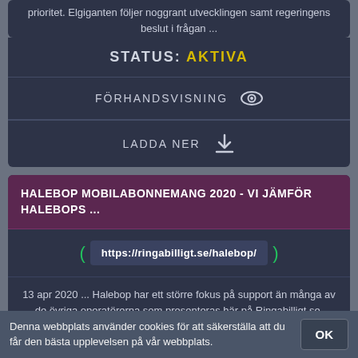prioritet. Elgiganten följer noggrant utvecklingen samt regeringens beslut i frågan ...
STATUS: AKTIVA
FÖRHANDSVISNING
LADDA NER
HALEBOP MOBILABONNEMANG 2020 - VI JÄMFÖR HALEBOPS ...
https://ringabilligt.se/halebop/
13 apr 2020 ... Halebop har ett större fokus på support än många av de övriga operatörerna som presenteras här på Ringabilligt.se. Utöver mail och FAQ kan ...
STATUS: AKTIVA
Denna webbplats använder cookies för att säkerställa att du får den bästa upplevelsen på vår webbplats.